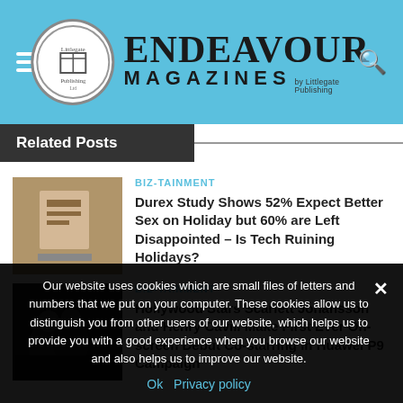Endeavour Magazines by Littlegate Publishing
Related Posts
BIZ-TAINMENT
Durex Study Shows 52% Expect Better Sex on Holiday but 60% are Left Disappointed – Is Tech Ruining Holidays?
BIZ-TAINMENT
Hollywood Stars Scarlett Johansson and Henry Cavill Make First Ever On-screen Debut Co-starring in Huawei P9 Campaign
Our website uses cookies which are small files of letters and numbers that we put on your computer. These cookies allow us to distinguish you from other users of our website, which helps us to provide you with a good experience when you browse our website and also helps us to improve our website.
Ok  Privacy policy